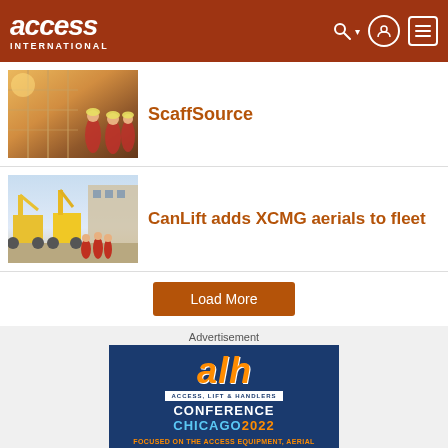access INTERNATIONAL
ScaffSource
[Figure (photo): Workers in red uniforms and hard hats on a scaffolding structure with industrial equipment in background]
CanLift adds XCMG aerials to fleet
[Figure (photo): Yellow XCMG aerial work platforms/boom lifts parked in a yard with people standing in front]
Load More
Advertisement
[Figure (logo): ALH Access Lift & Handlers Conference Chicago 2022 banner ad. Text reads: FOCUSED ON THE ACCESS EQUIPMENT, AERIAL PLATFORM AND TELEHANDLER INDUSTRIES]